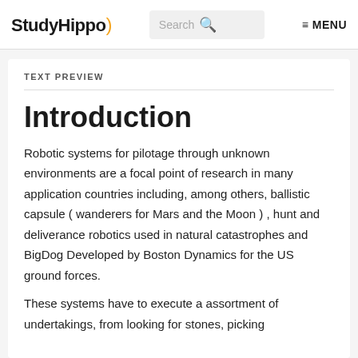StudyHippo) Search MENU
TEXT PREVIEW
Introduction
Robotic systems for pilotage through unknown environments are a focal point of research in many application countries including, among others, ballistic capsule ( wanderers for Mars and the Moon ) , hunt and deliverance robotics used in natural catastrophes and BigDog Developed by Boston Dynamics for the US ground forces.
These systems have to execute a assortment of undertakings, from looking for stones, picking